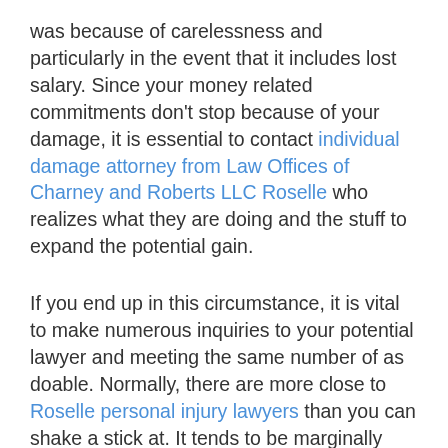was because of carelessness and particularly in the event that it includes lost salary. Since your money related commitments don't stop because of your damage, it is essential to contact individual damage attorney from Law Offices of Charney and Roberts LLC Roselle who realizes what they are doing and the stuff to expand the potential gain.
If you end up in this circumstance, it is vital to make numerous inquiries to your potential lawyer and meeting the same number of as doable. Normally, there are more close to Roselle personal injury lawyers than you can shake a stick at. It tends to be marginally dubious to locate the correct one, so narrowing down your choices to a couple of potential lawyers would be the initial step.